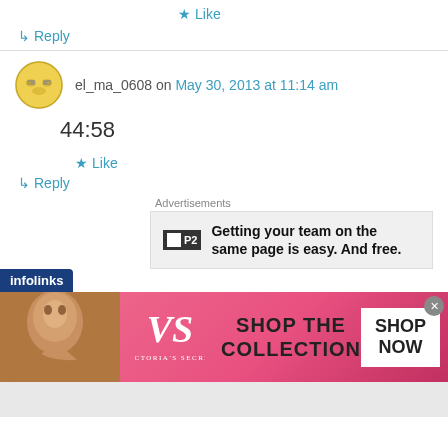★ Like
↳ Reply
el_ma_0608 on May 30, 2013 at 11:14 am
44:58
★ Like
↳ Reply
Advertisements
Getting your team on the same page is easy. And free.
[Figure (screenshot): infolinks bar and Victoria's Secret advertisement banner showing a model, the VS logo, 'SHOP THE COLLECTION' text, and a 'SHOP NOW' button]